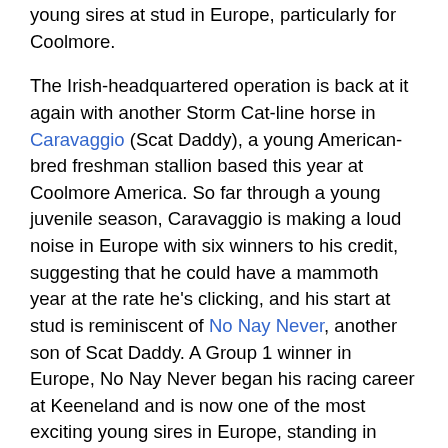young sires at stud in Europe, particularly for Coolmore.
The Irish-headquartered operation is back at it again with another Storm Cat-line horse in Caravaggio (Scat Daddy), a young American-bred freshman stallion based this year at Coolmore America. So far through a young juvenile season, Caravaggio is making a loud noise in Europe with six winners to his credit, suggesting that he could have a mammoth year at the rate he's clicking, and his start at stud is reminiscent of No Nay Never, another son of Scat Daddy. A Group 1 winner in Europe, No Nay Never began his racing career at Keeneland and is now one of the most exciting young sires in Europe, standing in Ireland for €125,000 after starting out for €20,000 in 2015 and reaching a reported €175,000 in 2020.
Hours before Rombauer won the first Lasix-free Preakness in decades, Caravaggio got his fifth winner, The Entertainer (Ire), a colt trained by Aidan O'Brien for the